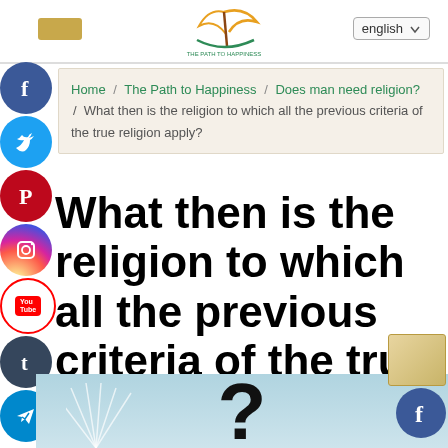english | [logo: The Path to Happiness]
Home / The Path to Happiness / Does man need religion? / What then is the religion to which all the previous criteria of the true religion apply?
What then is the religion to which all the previous criteria of the true religion apply?
[Figure (photo): Bottom portion of page showing a light blue sky background with a large question mark symbol and sunburst rays on the left side]